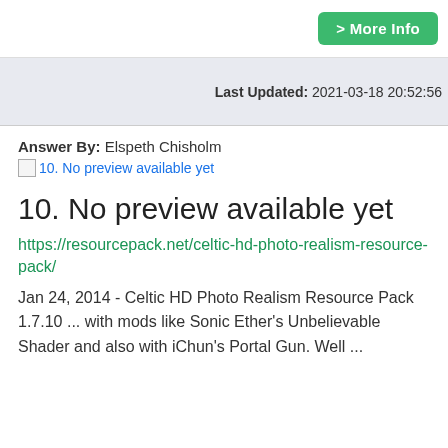> More Info
Last Updated: 2021-03-18 20:52:56
Answer By: Elspeth Chisholm
10. No preview available yet
10. No preview available yet
https://resourcepack.net/celtic-hd-photo-realism-resource-pack/
Jan 24, 2014 - Celtic HD Photo Realism Resource Pack 1.7.10 ... with mods like Sonic Ether's Unbelievable Shader and also with iChun's Portal Gun. Well ...